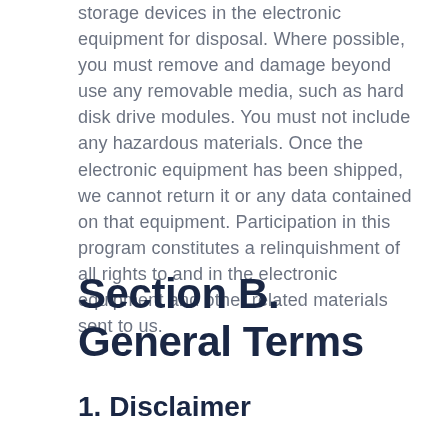storage devices in the electronic equipment for disposal. Where possible, you must remove and damage beyond use any removable media, such as hard disk drive modules. You must not include any hazardous materials. Once the electronic equipment has been shipped, we cannot return it or any data contained on that equipment. Participation in this program constitutes a relinquishment of all rights to and in the electronic equipment and other related materials sent to us.
Section B. General Terms
1. Disclaimer